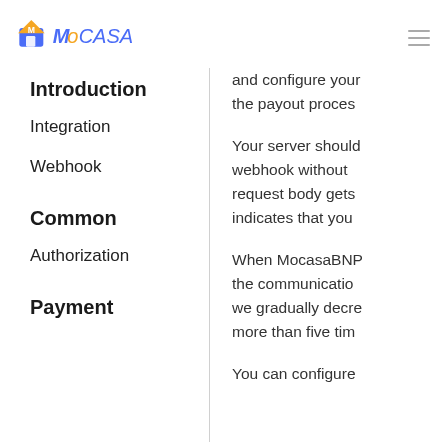MOCASA
Introduction
Integration
Webhook
Common
Authorization
Payment
and configure your the payout proces
Your server should webhook without request body gets indicates that you
When MocasaBNP the communication we gradually decre more than five tim
You can configure